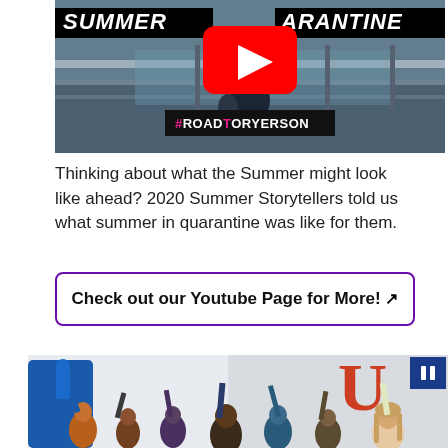[Figure (screenshot): YouTube video thumbnail showing 'SUMMER QUARANTINE' text overlay with a person standing on a walkway/bridge, a YouTube play button in the center, and '#ROADTORYERSON' hashtag at the bottom. The thumbnail is for a summer storytellers video.]
Thinking about what the Summer might look like ahead? 2020 Summer Storytellers told us what summer in quarantine was like for them.
Check out our Youtube Page for More! ↗
[Figure (photo): Photo of a crowd of students/fans at an event, cheering with hands raised, some holding foam fingers. A pause button overlay is visible in the top right corner.]